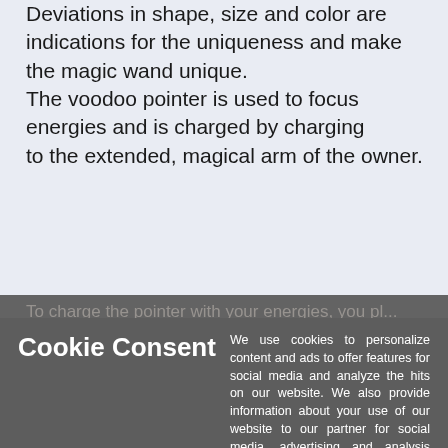Deviations in shape, size and color are indications for the uniqueness and make the magic wand unique.
The voodoo pointer is used to focus energies and is charged by charging
to the extended, magical arm of the owner.
To charge the pointer with your energies, you place...
Voodoo Orisha Oil Seven African Powers on the two ends of the stick.
Then you grasp the pointer with both hands and focus on how your energy and magical power flows into the pointer.
Dimensions: approx. 63 cm pointer
A notice!
No animal had to lose its life for this voodoo pointer.
All Santeria items like:
Cookie Consent
We use cookies to personalize content and ads to offer features for social media and analyze the hits on our website. We also provide information about your use of our website to our partner for social media, advertising and analysis continues. Furthermore, purely technical cookies are used to ensure the functionality of the website, these cannot be deactivated.